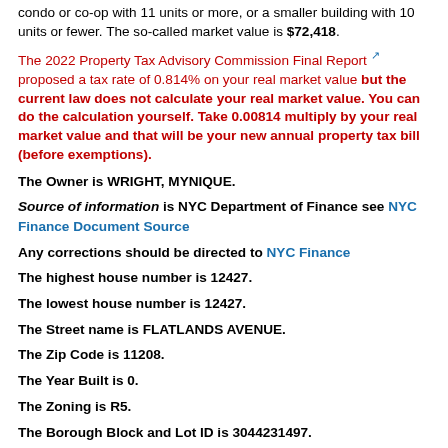condo or co-op with 11 units or more, or a smaller building with 10 units or fewer. The so-called market value is $72,418.
The 2022 Property Tax Advisory Commission Final Report [link] proposed a tax rate of 0.814% on your real market value but the current law does not calculate your real market value. You can do the calculation yourself. Take 0.00814 multiply by your real market value and that will be your new annual property tax bill (before exemptions).
The Owner is WRIGHT, MYNIQUE. Source of information is NYC Department of Finance see NYC Finance Document Source Any corrections should be directed to NYC Finance The highest house number is 12427. The lowest house number is 12427. The Street name is FLATLANDS AVENUE. The Zip Code is 11208. The Year Built is 0. The Zoning is R5. The Borough Block and Lot ID is 3044231497.